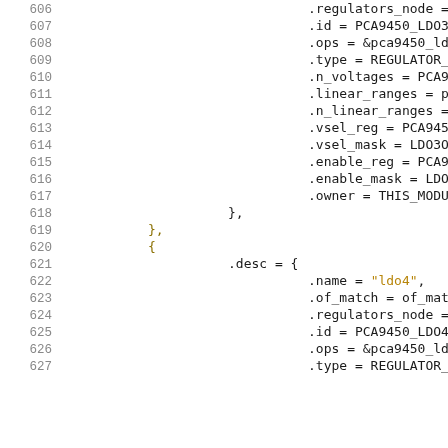Source code listing lines 606-627, C struct initialization for PCA9450 LDO3 and LDO4 regulator descriptors